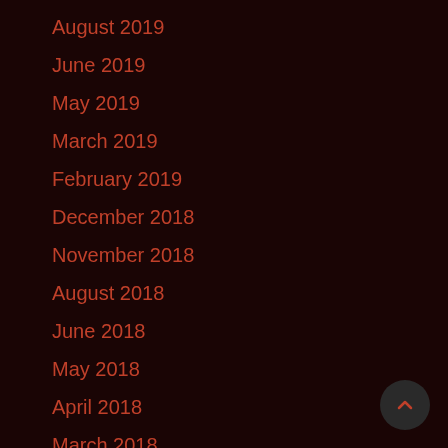August 2019
June 2019
May 2019
March 2019
February 2019
December 2018
November 2018
August 2018
June 2018
May 2018
April 2018
March 2018
January 2018
December 2017
November 2017